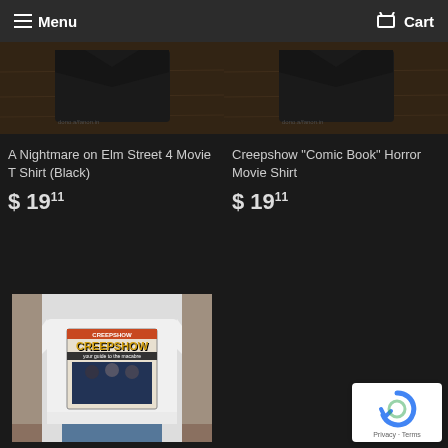Menu  Cart
[Figure (photo): Product photo of A Nightmare on Elm Street 4 Movie T Shirt (Black) on wooden floor]
A Nightmare on Elm Street 4 Movie T Shirt (Black)
$ 1911
[Figure (photo): Product photo of Creepshow Comic Book Horror Movie Shirt on wooden floor]
Creepshow "Comic Book" Horror Movie Shirt
$ 1911
[Figure (photo): Person wearing white Creepshow long sleeve t-shirt with comic book style graphic]
[Figure (logo): reCAPTCHA badge with Privacy and Terms links]